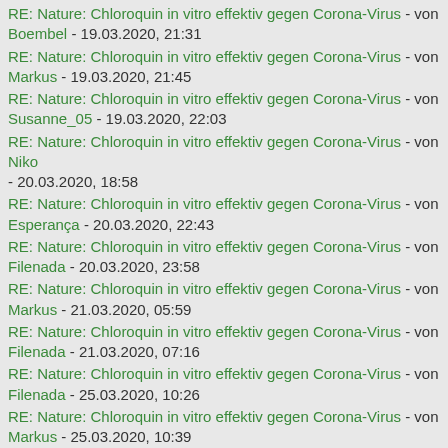RE: Nature: Chloroquin in vitro effektiv gegen Corona-Virus - von Boembel - 19.03.2020, 21:31
RE: Nature: Chloroquin in vitro effektiv gegen Corona-Virus - von Markus - 19.03.2020, 21:45
RE: Nature: Chloroquin in vitro effektiv gegen Corona-Virus - von Susanne_05 - 19.03.2020, 22:03
RE: Nature: Chloroquin in vitro effektiv gegen Corona-Virus - von Niko - 20.03.2020, 18:58
RE: Nature: Chloroquin in vitro effektiv gegen Corona-Virus - von Esperança - 20.03.2020, 22:43
RE: Nature: Chloroquin in vitro effektiv gegen Corona-Virus - von Filenada - 20.03.2020, 23:58
RE: Nature: Chloroquin in vitro effektiv gegen Corona-Virus - von Markus - 21.03.2020, 05:59
RE: Nature: Chloroquin in vitro effektiv gegen Corona-Virus - von Filenada - 21.03.2020, 07:16
RE: Nature: Chloroquin in vitro effektiv gegen Corona-Virus - von Filenada - 25.03.2020, 10:26
RE: Nature: Chloroquin in vitro effektiv gegen Corona-Virus - von Markus - 25.03.2020, 10:39
RE: Nature: Chloroquin in vitro effektiv gegen Corona-Virus - von Filenada - 25.03.2020, 11:24
RE: Nature: Chloroquin in vitro effektiv gegen Corona-Virus - von